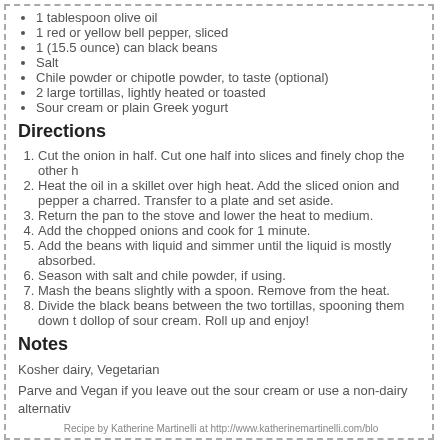1 tablespoon olive oil
1 red or yellow bell pepper, sliced
1 (15.5 ounce) can black beans
Salt
Chile powder or chipotle powder, to taste (optional)
2 large tortillas, lightly heated or toasted
Sour cream or plain Greek yogurt
Directions
Cut the onion in half. Cut one half into slices and finely chop the other h
Heat the oil in a skillet over high heat. Add the sliced onion and pepper a charred. Transfer to a plate and set aside.
Return the pan to the stove and lower the heat to medium.
Add the chopped onions and cook for 1 minute.
Add the beans with liquid and simmer until the liquid is mostly absorbed.
Season with salt and chile powder, if using.
Mash the beans slightly with a spoon. Remove from the heat.
Divide the black beans between the two tortillas, spooning them down the center. Top with the charred veggies and a dollop of sour cream. Roll up and enjoy!
Notes
Kosher dairy, Vegetarian
Parve and Vegan if you leave out the sour cream or use a non-dairy alternative.
Recipe by Katherine Martinelli at http://www.katherinemartinelli.com/blo